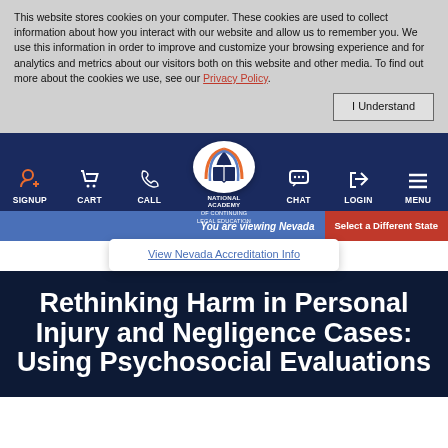This website stores cookies on your computer. These cookies are used to collect information about how you interact with our website and allow us to remember you. We use this information in order to improve and customize your browsing experience and for analytics and metrics about our visitors both on this website and other media. To find out more about the cookies we use, see our Privacy Policy.
[Figure (screenshot): Navigation bar with icons: SIGNUP, CART, CALL, National Academy of Continuing Legal Education logo, CHAT, LOGIN, MENU]
You are viewing Nevada
Select a Different State
View Nevada Accreditation Info
Rethinking Harm in Personal Injury and Negligence Cases: Using Psychosocial Evaluations